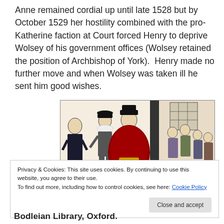Anne remained cordial up until late 1528 but by October 1529 her hostility combined with the pro-Katherine faction at Court forced Henry to deprive Wolsey of his government offices (Wolsey retained the position of Archbishop of York).  Henry made no further move and when Wolsey was taken ill he sent him good wishes.
[Figure (illustration): A historical cartoon or caricature illustration showing several figures in Tudor-era clothing, including a central figure in a large red cape and black hat, with other figures around them and a scene visible in the background.]
Privacy & Cookies: This site uses cookies. By continuing to use this website, you agree to their use.
To find out more, including how to control cookies, see here: Cookie Policy
Bodleian Library, Oxford.